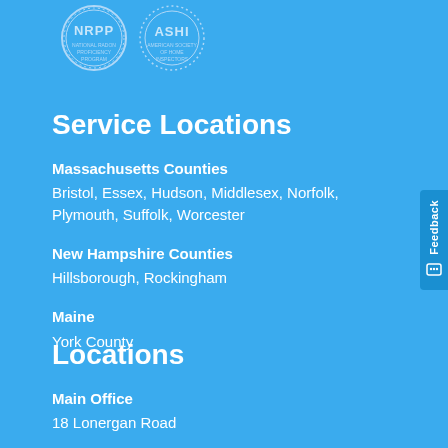[Figure (logo): Two circular certification logos: NRPP and ASHI, shown at the top of the page on a blue background]
Service Locations
Massachusetts Counties
Bristol, Essex, Hudson, Middlesex, Norfolk, Plymouth, Suffolk, Worcester
New Hampshire Counties
Hillsborough, Rockingham
Maine
York County
Locations
Main Office
18 Lonergan Road